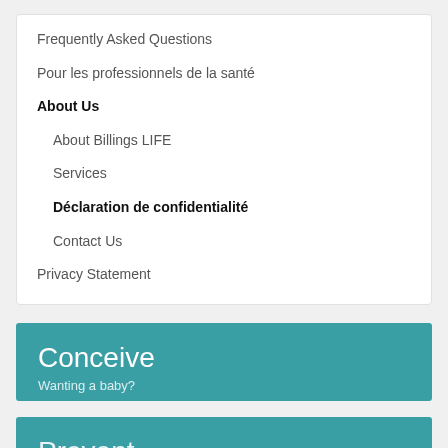Frequently Asked Questions
Pour les professionnels de la santé
About Us
About Billings LIFE
Services
Déclaration de confidentialité
Contact Us
Privacy Statement
Conceive
Wanting a baby?
Prevent